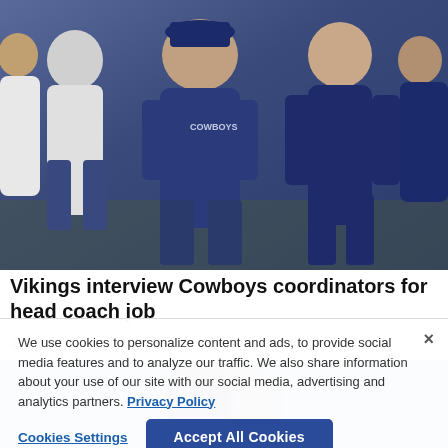[Figure (photo): Dallas Cowboys coaching staff in blue gear on sideline, multiple figures in navy blue athletic wear]
Vikings interview Cowboys coordinators for head coach job
Jan. 19, 2022 09:54 PM EST
We use cookies to personalize content and ads, to provide social media features and to analyze our traffic. We also share information about your use of our site with our social media, advertising and analytics partners. Privacy Policy
[Figure (photo): Blurred background photo of football player/coach]
Cookies Settings
Accept All Cookies